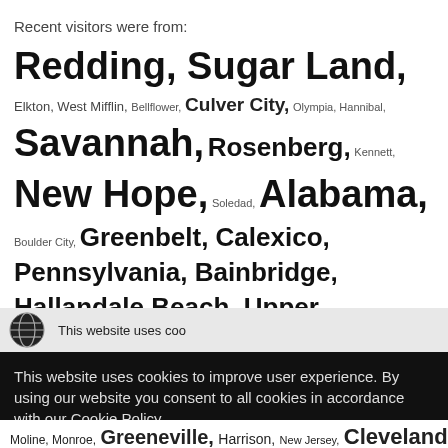Recent visitors were from:
Redding, Sugar Land, Elkton, West Mifflin, Bellflower, Culver City, Olympia, Hannibal, Savannah, Rosenberg, Kennett, New Hope, Soledad, Alabama, Boulder City, Greenbelt, Calexico, Pennsylvania, Bainbridge, Hallandale Beach, Upper Arlington, West Bend, Nebraska, Satellite Beach, Santa Barbara, Kelso, Hazel Crest, Grass Valley, Centennial, Santee, Chattanooga, Doral, Williamsburg, Nevada, Crestwood, Pittsburgh, Clemson, Florida, Vincennes,
This website uses coo
This website uses cookies to improve user experience. By using our website you consent to all cookies in accordance with our Cookie Policy.
Accept
Read More
Moline, Monroe, Greeneville, Harrison, New Jersey, Cleveland